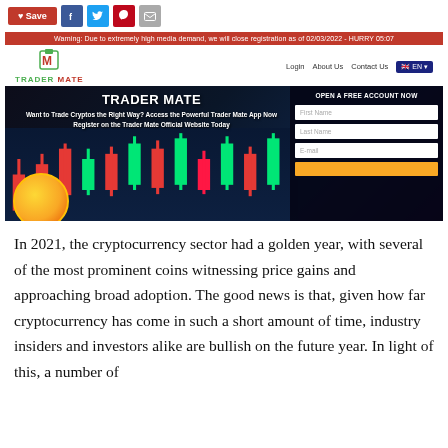[Figure (screenshot): Social share buttons: Save (red), Facebook (blue), Twitter (light blue), Pinterest (red), Email (grey)]
[Figure (screenshot): Trader Mate website screenshot showing warning bar, navbar with logo and navigation links (Login, About Us, Contact Us, EN), and a hero banner with title 'TRADER MATE', subtitle about trading cryptos, and a registration form with fields for First Name, Last Name, E-mail.]
In 2021, the cryptocurrency sector had a golden year, with several of the most prominent coins witnessing price gains and approaching broad adoption. The good news is that, given how far cryptocurrency has come in such a short amount of time, industry insiders and investors alike are bullish on the future year. In light of this, a number of